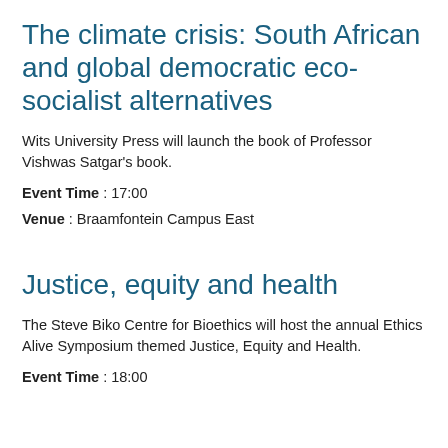The climate crisis: South African and global democratic eco-socialist alternatives
Wits University Press will launch the book of Professor Vishwas Satgar's book.
Event Time : 17:00
Venue : Braamfontein Campus East
Justice, equity and health
The Steve Biko Centre for Bioethics will host the annual Ethics Alive Symposium themed Justice, Equity and Health.
Event Time : 18:00